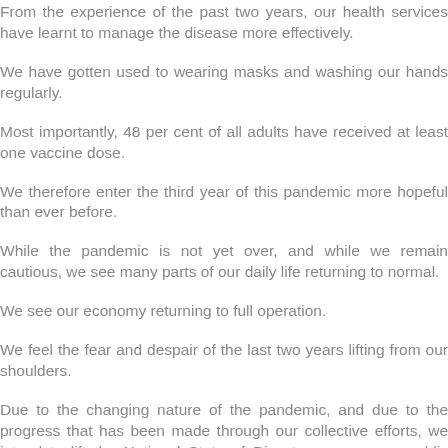From the experience of the past two years, our health services have learnt to manage the disease more effectively.
We have gotten used to wearing masks and washing our hands regularly.
Most importantly, 48 per cent of all adults have received at least one vaccine dose.
We therefore enter the third year of this pandemic more hopeful than ever before.
While the pandemic is not yet over, and while we remain cautious, we see many parts of our daily life returning to normal.
We see our economy returning to full operation.
We feel the fear and despair of the last two years lifting from our shoulders.
Due to the changing nature of the pandemic, and due to the progress that has been made through our collective efforts, we intend to lift the National State of Disaster as soon as public comment on the health